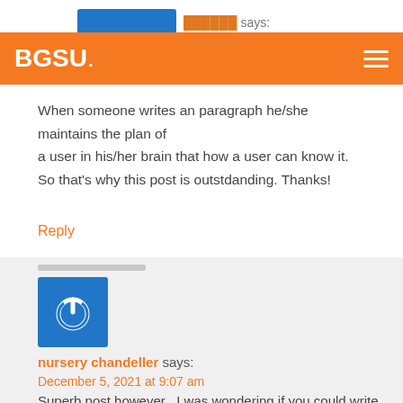says:
[Figure (logo): BGSU logo on orange navigation bar with hamburger menu icon]
When someone writes an paragraph he/she maintains the plan of a user in his/her brain that how a user can know it. So that's why this post is outstdanding. Thanks!
Reply
[Figure (illustration): Blue square avatar with white power/on button symbol]
nursery chandeller says:
December 5, 2021 at 9:07 am
Superb post however , I was wondering if you could write